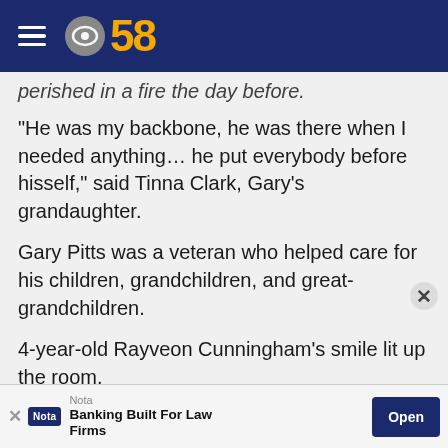CBS 58
perished in a fire the day before.
"He was my backbone, he was there when I needed anything... he put everybody before hisself," said Tinna Clark, Gary's granddaughter.
Gary Pitts was a veteran who helped care for his children, grandchildren, and great-grandchildren.
4-year-old Rayveon Cunningham's smile lit up the room.
"That was my baby. I mean, he was so happy. He had his moments, but who doesn't. That was a piece of me and that was snatched away from me," said Clark.
Nota — Banking Built For Law Firms — Open